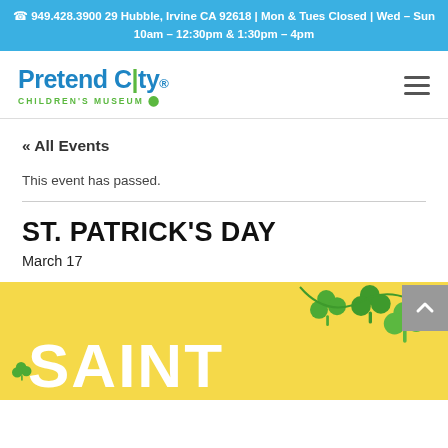📞 949.428.3900 29 Hubble, Irvine CA 92618 | Mon & Tues Closed | Wed – Sun 10am – 12:30pm & 1:30pm – 4pm
[Figure (logo): Pretend City Children's Museum logo]
« All Events
This event has passed.
ST. PATRICK'S DAY
March 17
[Figure (illustration): St. Patrick's Day event banner with yellow background, large white text 'SAINT' and green shamrocks]